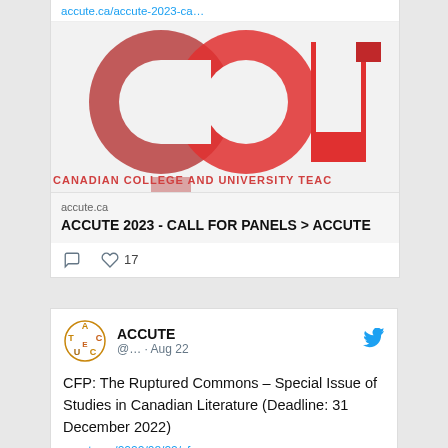accute.ca/accute-2023-ca...
[Figure (logo): ACCUTE logo: large stylized letters with red/dark-red tones, text below reading CANADIAN COLLEGE AND UNIVERSITY TEAC (truncated)]
accute.ca
ACCUTE 2023 - CALL FOR PANELS > ACCUTE
17 likes
[Figure (logo): ACCUTE circular logo with orange/brown colored letters arranged in a circle]
ACCUTE @... · Aug 22
CFP: The Ruptured Commons – Special Issue of Studies in Canadian Literature (Deadline: 31 December 2022)
accute.ca/2022/08/22/cfp...